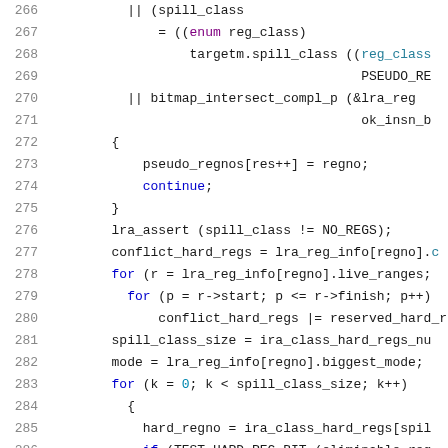[Figure (screenshot): Source code listing showing lines 266-286 of a C program related to register allocation (lra/spill class logic). Lines shown with syntax highlighting: line numbers in gray, keywords in blue/purple, identifiers in black, special values in teal.]